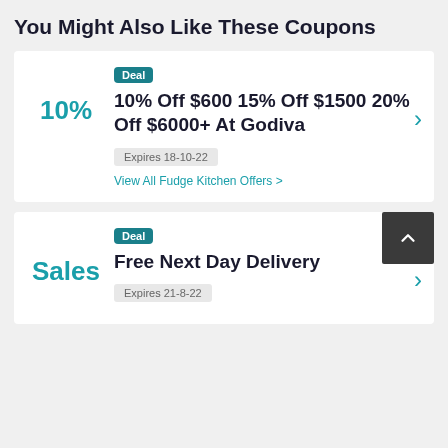You Might Also Like These Coupons
10% | Deal | 10% Off $600 15% Off $1500 20% Off $6000+ At Godiva | Expires 18-10-22 | View All Fudge Kitchen Offers
Sales | Deal | Free Next Day Delivery | Expires 21-8-22